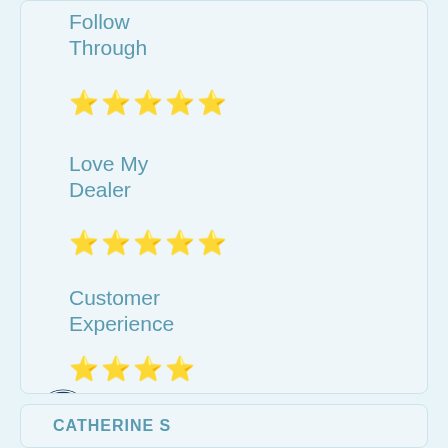Follow Through
★★★★★
Love My Dealer
★★★★★
Customer Experience
★★★★
Sales Consultant
CHERYLE ANDERSON
CATHERINE S